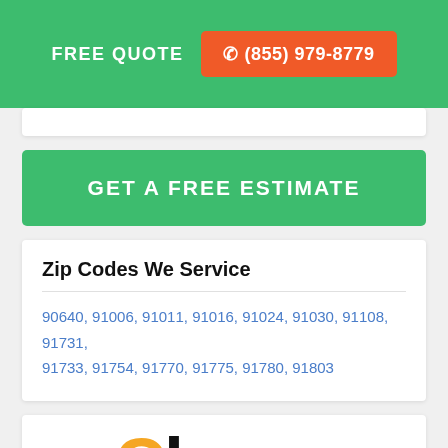FREE QUOTE  (855) 979-8779
GET A FREE ESTIMATE
Zip Codes We Service
90640, 91006, 91011, 91016, 91024, 91030, 91108, 91731, 91733, 91754, 91770, 91775, 91780, 91803
[Figure (logo): Clever logo with golden C and black 'lever' text]